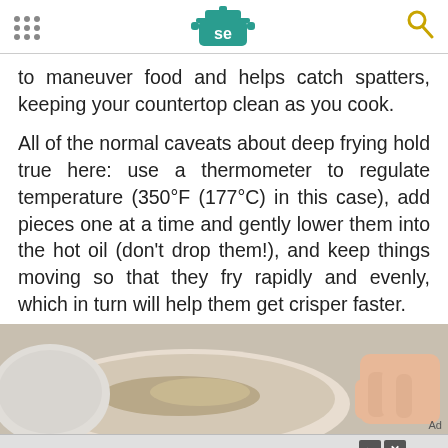Serious Eats header with logo and navigation
to maneuver food and helps catch spatters, keeping your countertop clean as you cook.
All of the normal caveats about deep frying hold true here: use a thermometer to regulate temperature (350°F (177°C) in this case), add pieces one at a time and gently lower them into the hot oil (don't drop them!), and keep things moving so that they fry rapidly and evenly, which in turn will help them get crisper faster.
[Figure (photo): Close-up photo of a bowl with food being prepared, a hand visible on the right side]
Ford SUMMER SUPERCHARGED  LEARN MORE